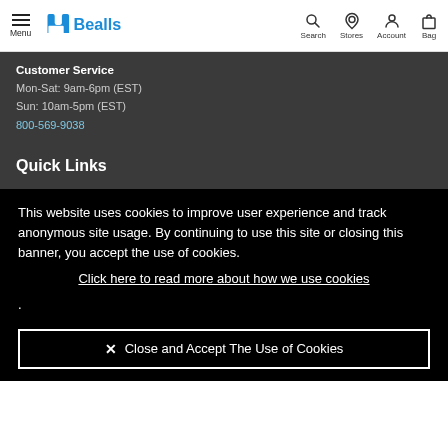Menu | Bealls | Search | Stores | Account | Bag
Customer Service
Mon-Sat: 9am-6pm (EST)
Sun: 10am-5pm (EST)
800-569-9038
Quick Links
This website uses cookies to improve user experience and track anonymous site usage. By continuing to use this site or closing this banner, you accept the use of cookies. Click here to read more about how we use cookies
.
✕ Close and Accept The Use of Cookies